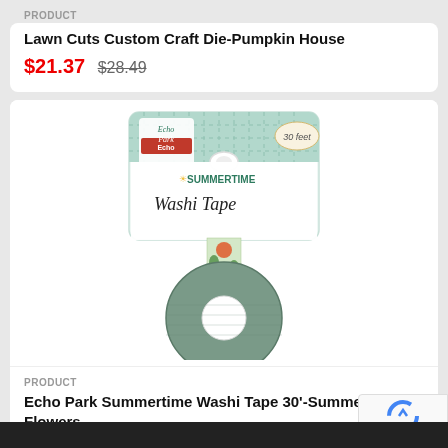PRODUCT
Lawn Cuts Custom Craft Die-Pumpkin House
$21.37  $28.49
[Figure (photo): Echo Park Summertime Washi Tape product photo showing a roll of washi tape with floral/summer pattern on a branded card packaging that reads 'Summertime Washi Tape' and '30 feet']
PRODUCT
Echo Park Summertime Washi Tape 30'-Summer Flowers
[Figure (logo): Google reCAPTCHA widget overlay in bottom right corner with Privacy and Terms text]